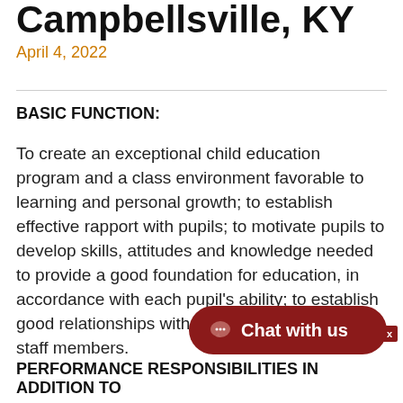Campbellsville, KY
April 4, 2022
BASIC FUNCTION:
To create an exceptional child education program and a class environment favorable to learning and personal growth; to establish effective rapport with pupils; to motivate pupils to develop skills, attitudes and knowledge needed to provide a good foundation for education, in accordance with each pupil's ability; to establish good relationships with parents and with other staff members.
PERFORMANCE RESPONSIBILITIES IN ADDITION TO